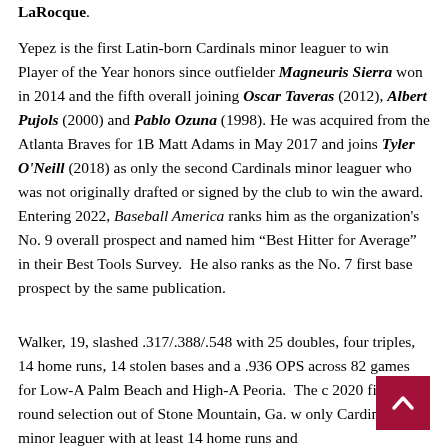LaRocque.
Yepez is the first Latin-born Cardinals minor leaguer to win Player of the Year honors since outfielder Magneuris Sierra won in 2014 and the fifth overall joining Oscar Taveras (2012), Albert Pujols (2000) and Pablo Ozuna (1998). He was acquired from the Atlanta Braves for 1B Matt Adams in May 2017 and joins Tyler O'Neill (2018) as only the second Cardinals minor leaguer who was not originally drafted or signed by the club to win the award.  Entering 2022, Baseball America ranks him as the organization's No. 9 overall prospect and named him “Best Hitter for Average” in their Best Tools Survey.  He also ranks as the No. 7 first base prospect by the same publication.
Walker, 19, slashed .317/.388/.548 with 25 doubles, four triples, 14 home runs, 14 stolen bases and a .936 OPS across 82 games for Low-A Palm Beach and High-A Peoria.  The c... 2020 first-round selection out of Stone Mountain, Ga. w... only Cardinals minor leaguer with at least 14 home runs and